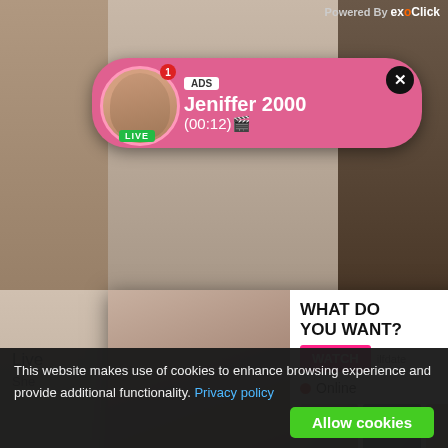Powered By exoClick
[Figure (screenshot): Pink notification bubble showing profile avatar with LIVE badge, ADS label, name Jeniffer 2000, time (00:12), and close button]
[Figure (screenshot): Ad popup with woman photo on left, WHAT DO YOU WANT? text with WATCH button, ilfdate text, Online indicator, three thumbnail images, black bottom bar with text: Cumming, ass fucking, squirt or... • ADS with X close button]
Live
She
SearchingForSingles
Flirt4Free
This website makes use of cookies to enhance browsing experience and provide additional functionality. Privacy policy
Allow cookies